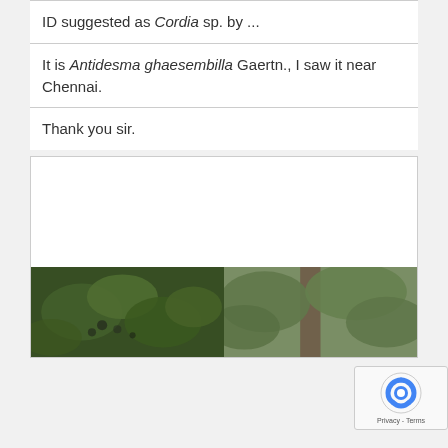ID suggested as Cordia sp. by ...
It is Antidesma ghaesembilla Gaertn., I saw it near Chennai.
Thank you sir.
[Figure (photo): Two photographs of plant leaves: left image shows dark green leaves with fruit/berries, right image shows large dark green leaves with a tree trunk visible]